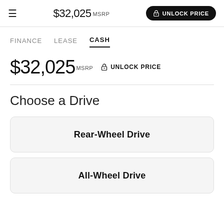$32,025 MSRP  🔒 UNLOCK PRICE
FINANCE   LEASE   CASH
$32,025 MSRP  🔒 UNLOCK PRICE
Choose a Drive
Rear-Wheel Drive
All-Wheel Drive